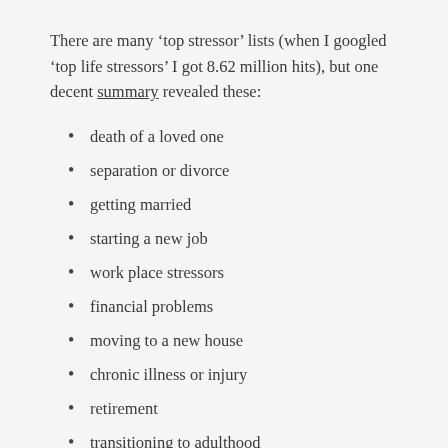There are many ‘top stressor’ lists (when I googled ‘top life stressors’ I got 8.62 million hits), but one decent summary revealed these:
death of a loved one
separation or divorce
getting married
starting a new job
work place stressors
financial problems
moving to a new house
chronic illness or injury
retirement
transitioning to adulthood
Since May 1, I’ve been the lucky recipient of 4 of these challenges. Not to mention lots of lesser stressors (e.g., crazy